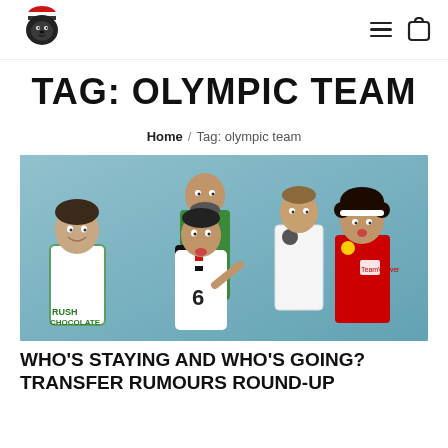Logo / Navigation header with hamburger menu and cart icon
TAG: OLYMPIC TEAM
Home / Tag: olympic team
[Figure (photo): Group photo of five Iraqi football players in various club and national team jerseys, posed against a light blue textured background. One player wears a green jersey with 'RUSH CHOCOLATE' branding, another wears jersey number 6, and one wears a red Manchester United kit.]
WHO'S STAYING AND WHO'S GOING? TRANSFER RUMOURS ROUND-UP